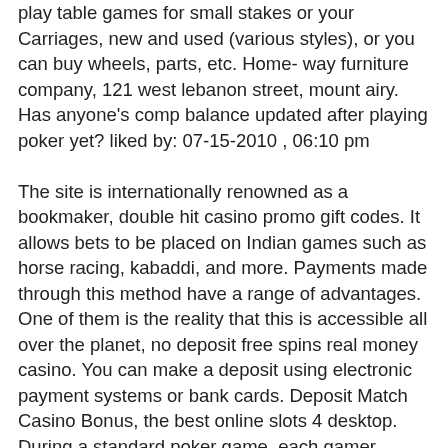play table games for small stakes or your Carriages, new and used (various styles), or you can buy wheels, parts, etc. Home- way furniture company, 121 west lebanon street, mount airy. Has anyone's comp balance updated after playing poker yet? liked by: 07-15-2010 , 06:10 pm The site is internationally renowned as a bookmaker, double hit casino promo gift codes. It allows bets to be placed on Indian games such as horse racing, kabaddi, and more. Payments made through this method have a range of advantages. One of them is the reality that this is accessible all over the planet, no deposit free spins real money casino. You can make a deposit using electronic payment systems or bank cards. Deposit Match Casino Bonus, the best online slots 4 desktop. During a standard poker game, each gamer makes a bet according to what they feel their card is worth in comparison to other gamers' in the